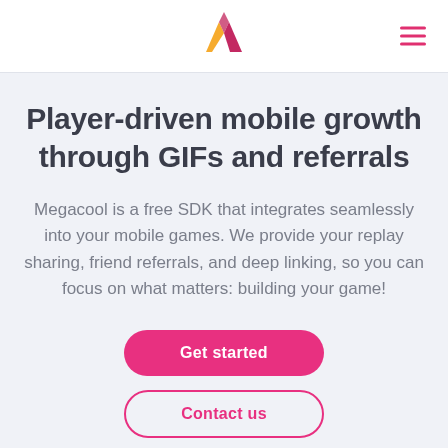Megacool logo and navigation
Player-driven mobile growth through GIFs and referrals
Megacool is a free SDK that integrates seamlessly into your mobile games. We provide your replay sharing, friend referrals, and deep linking, so you can focus on what matters: building your game!
Get started
Contact us